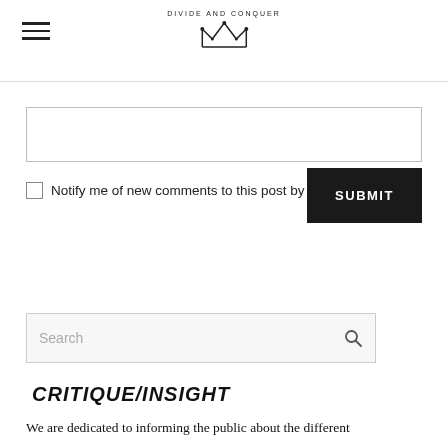DIVIDE AND CONQUER
[text input field]
Notify me of new comments to this post by email
SUBMIT
Search
CRITIQUE/INSIGHT
We are dedicated to informing the public about the different